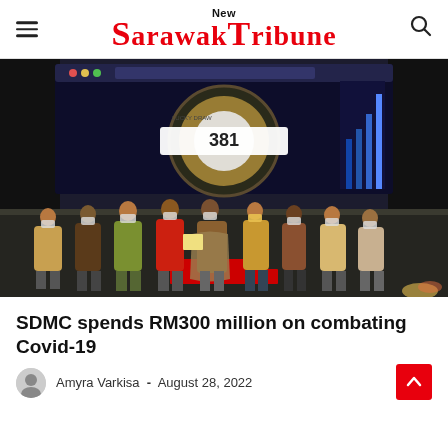New Sarawak Tribune
[Figure (photo): Group of people standing on a stage at an event, with a large screen behind them showing a 'Lucky Draw' interface with the number 381 displayed. The participants are wearing colourful traditional batik-style tops and face masks.]
SDMC spends RM300 million on combating Covid-19
Amyra Varkisa  -  August 28, 2022